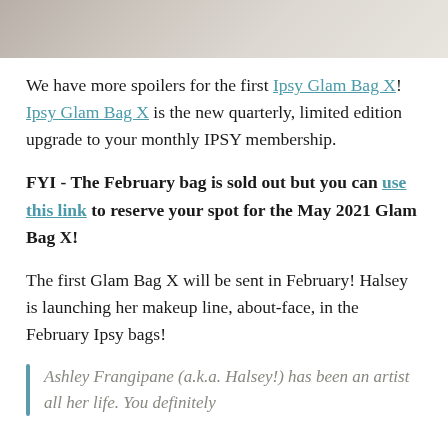[Figure (photo): Top portion of a photo showing what appears to be beauty/makeup products, partially cropped at top of page]
We have more spoilers for the first Ipsy Glam Bag X!  Ipsy Glam Bag X is the new quarterly, limited edition upgrade to your monthly IPSY membership.
FYI - The February bag is sold out but you can use this link to reserve your spot for the May 2021 Glam Bag X!
The first Glam Bag X will be sent in February! Halsey is launching her makeup line, about-face, in the February Ipsy bags!
Ashley Frangipane (a.k.a. Halsey!) has been an artist all her life. You definitely...